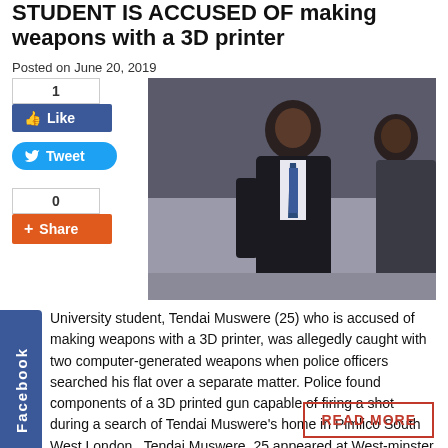STUDENT IS ACCUSED OF making weapons with a 3D printer
Posted on June 20, 2019
[Figure (photo): Man in dark coat and tie walking, with another person partially visible behind]
University student, Tendai Muswere (25) who is accused of making weapons with a 3D printer, was allegedly caught with two computer-generated weapons when police officers searched his flat over a separate matter. Police found components of a 3D printed gun capable of firing a shot during a search of Tendai Muswere's home in Pimlico South West London . Tendai Muswere, 25,appeared at West-minster magistrates' court yesterday and claimed he was doing a university...
READ MORE